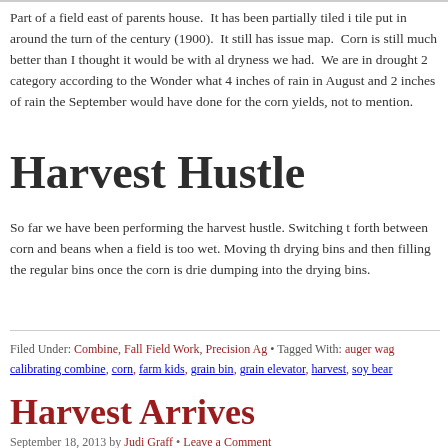Part of a field east of parents house.  It has been partially tiled i tile put in around the turn of the century (1900).  It still has issue map.  Corn is still much better than I thought it would be with al dryness we had.  We are in drought 2 category according to the Wonder what 4 inches of rain in August and 2 inches of rain the September would have done for the corn yields, not to mention.
Harvest Hustle
So far we have been performing the harvest hustle. Switching t forth between corn and beans when a field is too wet. Moving th drying bins and then filling the regular bins once the corn is drie dumping into the drying bins.
Filed Under: Combine, Fall Field Work, Precision Ag • Tagged With: auger wag calibrating combine, corn, farm kids, grain bin, grain elevator, harvest, soy bear
Harvest Arrives
September 18, 2013 by Judi Graff • Leave a Comment